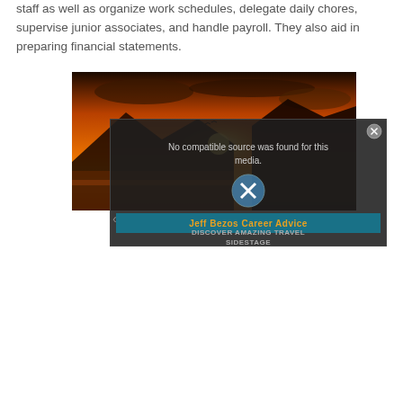staff as well as organize work schedules, delegate daily chores, supervise junior associates, and handle payroll. They also aid in preparing financial statements.
[Figure (screenshot): A screenshot of a media player showing a sunset/coastal background photo with an overlaid video error dialog reading 'No compatible source was found for this media.' and a 'Jeff Bezos Career Advice' label bar, plus a 'DISCOVER AMAZING TRAVEL SIDESTAGE' overlay. A circular X close button is visible.]